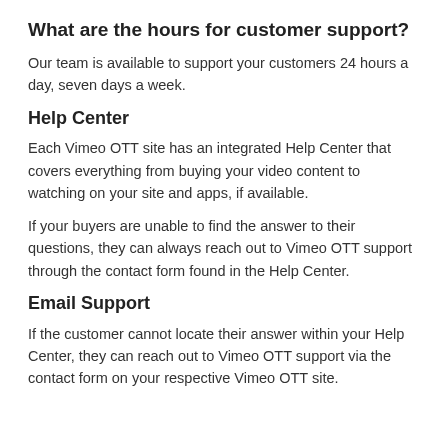What are the hours for customer support?
Our team is available to support your customers 24 hours a day, seven days a week.
Help Center
Each Vimeo OTT site has an integrated Help Center that covers everything from buying your video content to watching on your site and apps, if available.
If your buyers are unable to find the answer to their questions, they can always reach out to Vimeo OTT support through the contact form found in the Help Center.
Email Support
If the customer cannot locate their answer within your Help Center, they can reach out to Vimeo OTT support via the contact form on your respective Vimeo OTT site.